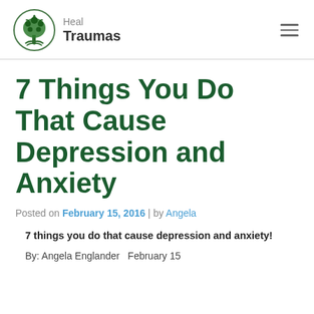[Figure (logo): Heal Traumas logo: circular green tree illustration with text 'Heal Traumas' beside it]
7 Things You Do That Cause Depression and Anxiety
Posted on February 15, 2016 | by Angela
7 things you do that cause depression and anxiety!
By: Angela Englander  February 15